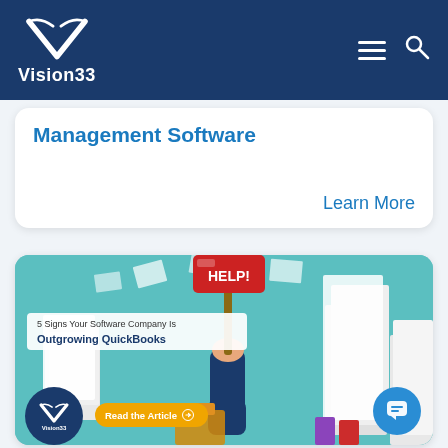Vision33
Management Software
Learn More
[Figure (illustration): Blog article card showing an illustration of a person holding a HELP sign amid stacks of papers, with text overlay '5 Signs Your Software Company Is Outgrowing QuickBooks', a Vision33 logo circle, and a 'Read the Article' button]